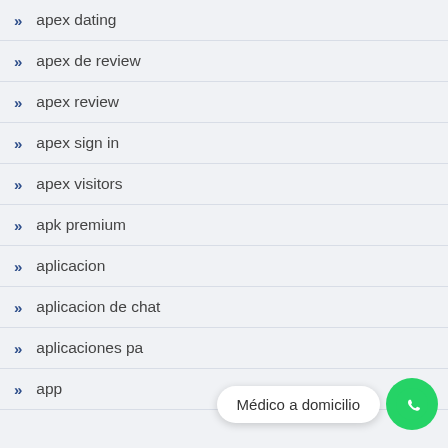apex dating
apex de review
apex review
apex sign in
apex visitors
apk premium
aplicacion
aplicacion de chat
aplicaciones pa…
app